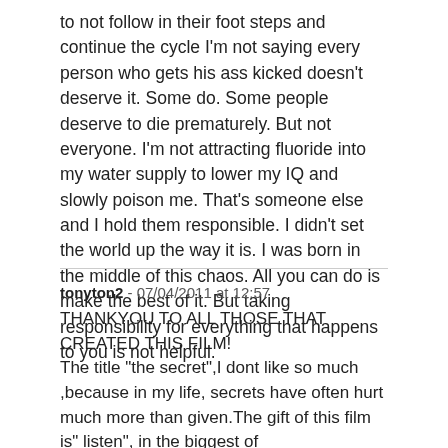to not follow in their foot steps and continue the cycle I'm not saying every person who gets his ass kicked doesn't deserve it. Some do. Some people deserve to die prematurely. But not everyone. I'm not attracting fluoride into my water supply to lower my IQ and slowly poison me. That's someone else and I hold them responsible. I didn't set the world up the way it is. I was born in the middle of this chaos. All you can do is make the best of it. But taking responsibility for everything that happens to you is not helpful.
tonyton2 - 07/04/2011 at 12:57
THANKYOU TO ALL THOSE THAT CREATED THIS FILM!
The title "the secret",I dont like so much ,because in my life, secrets have often hurt much more than given.The gift of this film is" listen", in the biggest of